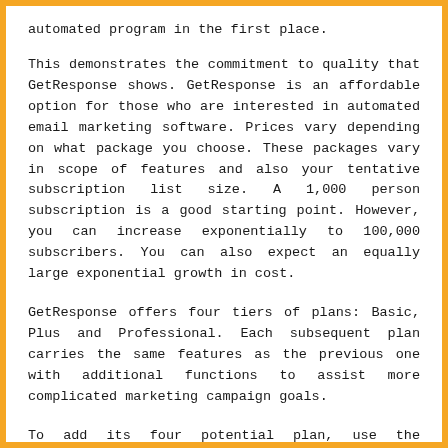automated program in the first place.
This demonstrates the commitment to quality that GetResponse shows. GetResponse is an affordable option for those who are interested in automated email marketing software. Prices vary depending on what package you choose. These packages vary in scope of features and also your tentative subscription list size. A 1,000 person subscription is a good starting point. However, you can increase exponentially to 100,000 subscribers. You can also expect an equally large exponential growth in cost.
GetResponse offers four tiers of plans: Basic, Plus and Professional. Each subsequent plan carries the same features as the previous one with additional functions to assist more complicated marketing campaign goals.
To add its four potential plan, use the GetResponse